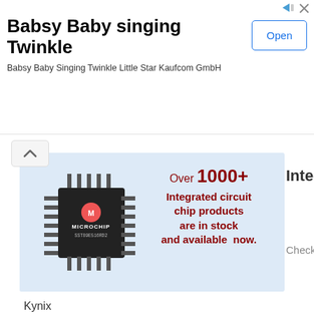[Figure (screenshot): Mobile app advertisement banner for 'Babsy Baby singing Twinkle' by Kaufcom GmbH with an Open button]
Babsy Baby singing Twinkle
Babsy Baby Singing Twinkle Little Star Kaufcom GmbH
[Figure (screenshot): Advertisement banner showing a Microchip IC chip with text 'Over 1000+ Integrated circuit chip products are in stock and available now.' from Kynix, with partial text 'Integ' and 'Check k' visible on the right]
Kynix
NATURE'S SLEEP CAYMAN GEL MEMO MATTRESS – DOES IT LIVE UP TO THE
I'm a Nature's Sleep Ambassador – #NSAmbassador – and receive